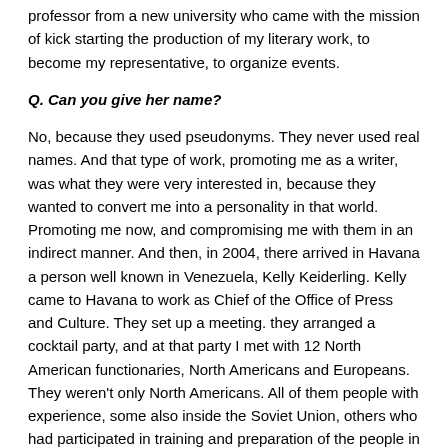professor from a new university who came with the mission of kick starting the production of my literary work, to become my representative, to organize events.
Q. Can you give her name?
No, because they used pseudonyms. They never used real names. And that type of work, promoting me as a writer, was what they were very interested in, because they wanted to convert me into a personality in that world. Promoting me now, and compromising me with them in an indirect manner. And then, in 2004, there arrived in Havana a person well known in Venezuela, Kelly Keiderling. Kelly came to Havana to work as Chief of the Office of Press and Culture. They set up a meeting. they arranged a cocktail party, and at that party I met with 12 North American functionaries, North Americans and Europeans. They weren't only North Americans. All of them people with experience, some also inside the Soviet Union, others who had participated in training and preparation of the people in Yugoslavia, in the Color Revolutions, and they were very interested in meeting me. Kelly became very close to me. She began to prepare me. She began to instruct me. I began to receive, from her, a very solid training: The creation of alternative groups, independent groups, the organization and training of youth leaders, who did not participate in the works of our cultural institutions. And that was in 2004-5. Kelly practically